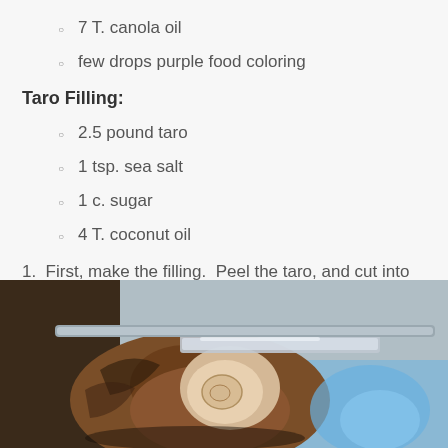7 T. canola oil
few drops purple food coloring
Taro Filling:
2.5 pound taro
1 tsp. sea salt
1 c. sugar
4 T. coconut oil
1.  First, make the filling.  Peel the taro, and cut into cubes.
[Figure (photo): Close-up photo of taro root being peeled or cut, with a knife and metal tray visible. The taro shows its rough brown exterior and pale interior.]